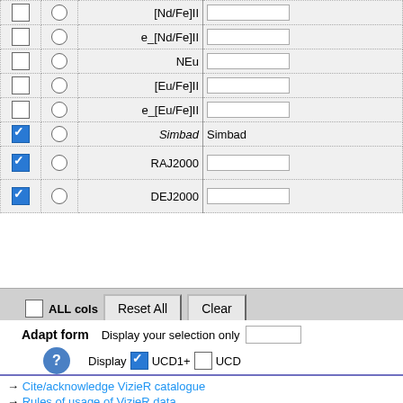| check | radio | name | value |
| --- | --- | --- | --- |
| ☐ | ○ | [Nd/Fe]II |  |
| ☐ | ○ | e_[Nd/Fe]II |  |
| ☐ | ○ | NEu |  |
| ☐ | ○ | [Eu/Fe]II |  |
| ☐ | ○ | e_[Eu/Fe]II |  |
| ☑ | ○ | Simbad | Simbad |
| ☑ | ○ | RAJ2000 |  |
| ☑ | ○ | DEJ2000 |  |
ALL cols   Reset All   Clear
Adapt form   Display your selection only   Display ☑ UCD1+  ☐ UCD
→ Cite/acknowledge VizieR catalogue
→ Rules of usage of VizieR data
© Université de Strasbourg/CNRS
f  ▶  🐦  🐙  · Contact ✉